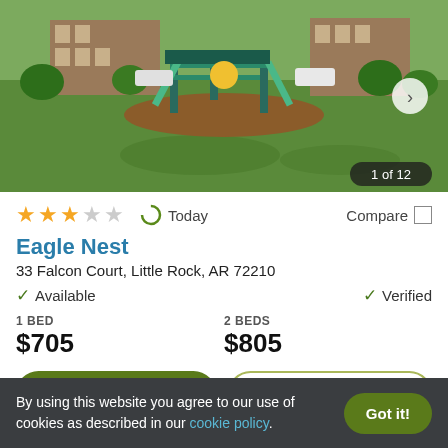[Figure (photo): Playground area with green slides and grass lawn at apartment complex, brick building in background]
1 of 12
★★★☆☆  Today  Compare
Eagle Nest
33 Falcon Court, Little Rock, AR 72210
✓ Available    ✓ Verified
1 BED
$705

2 BEDS
$805
View Details    Contact Property
By using this website you agree to our use of cookies as described in our cookie policy.  Got it!